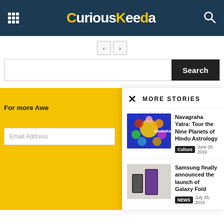CuriousKeeda
[Figure (screenshot): Navigation arrows (back and forward buttons)]
[Figure (screenshot): Search bar with Search button]
MORE STORIES
For more Awe
Email Address
[Figure (photo): Navagraha Yatra thumbnail - Hindu astrology planets illustration on blue background]
Navagraha Yatra: Tour the Nine Planets of Hindu Astrology
Culture   June 29, 2019
[Figure (photo): Samsung Galaxy Fold phones on desk]
Samsung finally announced the launch of Galaxy Fold
NEWS   July 25, 2019